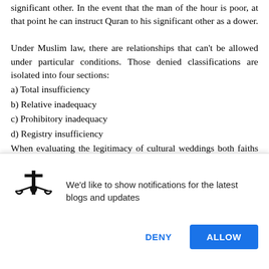significant other. In the event that the man of the hour is poor, at that point he can instruct Quran to his significant other as a dower.
Under Muslim law, there are relationships that can't be allowed under particular conditions. Those denied classifications are isolated into four sections:
a) Total insufficiency
b) Relative inadequacy
c) Prohibitory inadequacy
d) Registry insufficiency
When evaluating the legitimacy of cultural weddings both faiths agree on the importance of mutual agreement and moral conscience throughout the union.
[Figure (other): Browser notification popup with legal scales/cross icon, text 'We'd like to show notifications for the latest blogs and updates', with DENY and ALLOW buttons]